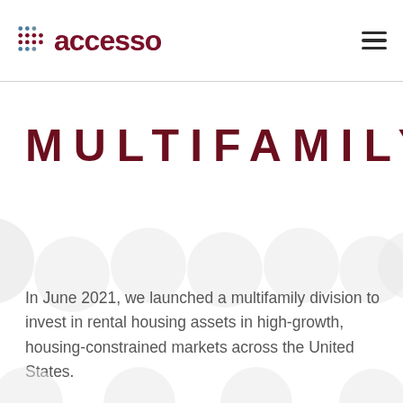[Figure (logo): Accesso logo with dot grid icon and dark red wordmark 'accesso']
MULTIFAMILY
In June 2021, we launched a multifamily division to invest in rental housing assets in high-growth, housing-constrained markets across the United States.